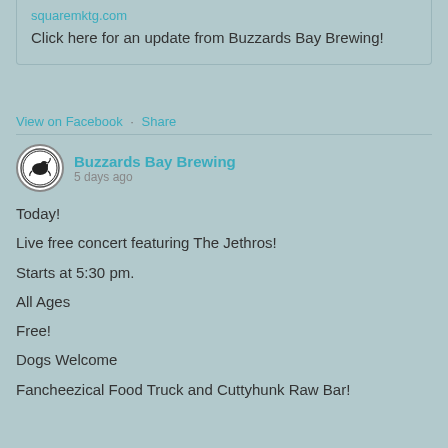squaremktg.com
Click here for an update from Buzzards Bay Brewing!
View on Facebook · Share
Buzzards Bay Brewing
5 days ago
Today!
Live free concert featuring The Jethros!
Starts at 5:30 pm.
All Ages
Free!
Dogs Welcome
Fancheezical Food Truck and Cuttyhunk Raw Bar!